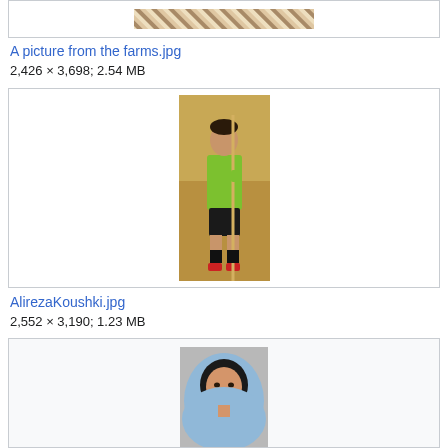[Figure (photo): Partial view of a photo, likely a farms/textile image, cropped at top]
A picture from the farms.jpg
2,426 × 3,698; 2.54 MB
[Figure (photo): Photo of Alireza Koushki, a man in a green sports jersey holding a pole/javelin, standing on a sports field]
AlirezaKoushki.jpg
2,552 × 3,190; 1.23 MB
[Figure (photo): Portrait photo of a young woman wearing a light blue hijab, smiling, against a grey background]